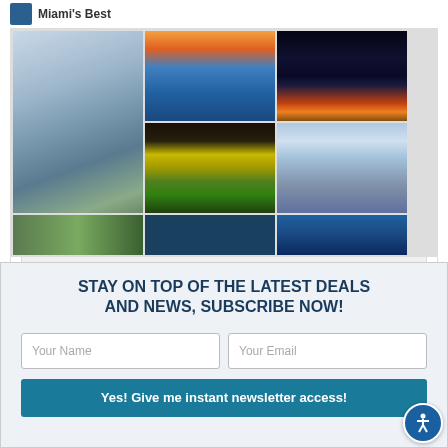Miami's Best
[Figure (photo): Photo grid of Miami city scenes: tall modern tower building, Miami skyline at sunset over water, Miami skyline at night with colorful lights, a colorful slinky toy on dark background, modern buildings on waterfront, dark blue water scene]
Follow On Pinterest
STAY ON TOP OF THE LATEST DEALS AND NEWS, SUBSCRIBE NOW!
Your Name | Your Email
Yes! Give me instant newsletter access!